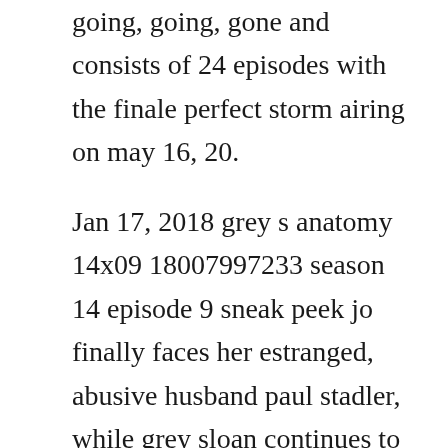going, going, gone and consists of 24 episodes with the finale perfect storm airing on may 16, 20.
Jan 17, 2018 grey s anatomy 14x09 18007997233 season 14 episode 9 sneak peek jo finally faces her estranged, abusive husband paul stadler, while grey sloan continues to work with the fbi after a hacker. Greys anatomy staffel 11 folge 23 rekapitulieren wetpaint greys anatomy staffel 11 folge 23 onlineabc. Every dang episode revolves around a very very biased political